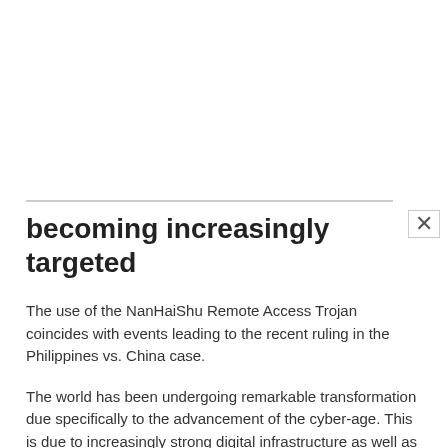becoming increasingly targeted
The use of the NanHaiShu Remote Access Trojan coincides with events leading to the recent ruling in the Philippines vs. China case.
The world has been undergoing remarkable transformation due specifically to the advancement of the cyber-age. This is due to increasingly strong digital infrastructure as well as the explosion in use of digital devices and technologies. However, it is that very advancement that has opened corporates and even government around the world to heightened scrutiny from cyber criminals.
While...